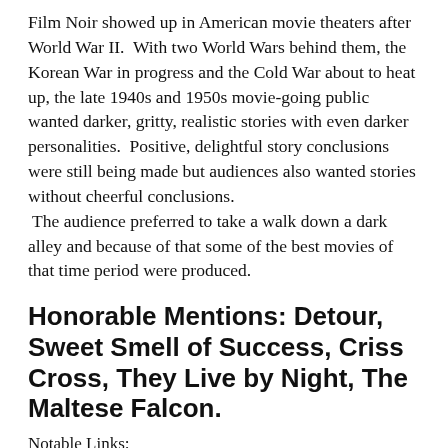Film Noir showed up in American movie theaters after World War II.  With two World Wars behind them, the Korean War in progress and the Cold War about to heat up, the late 1940s and 1950s movie-going public wanted darker, gritty, realistic stories with even darker personalities.  Positive, delightful story conclusions were still being made but audiences also wanted stories without cheerful conclusions.  The audience preferred to take a walk down a dark alley and because of that some of the best movies of that time period were produced.
Honorable Mentions: Detour, Sweet Smell of Success, Criss Cross, They Live by Night, The Maltese Falcon.
Notable Links:
http://www.openculture.com/freemoviesonline